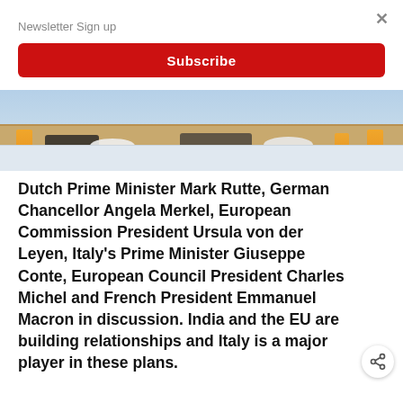Newsletter Sign up
Subscribe
[Figure (photo): Conference table scene with orange juice glasses, dishes, and dark objects on a light wooden table with a light blue draped front, showing a partial view of a meeting setting.]
Dutch Prime Minister Mark Rutte, German Chancellor Angela Merkel, European Commission President Ursula von der Leyen, Italy's Prime Minister Giuseppe Conte, European Council President Charles Michel and French President Emmanuel Macron in discussion. India and the EU are building relationships and Italy is a major player in these plans.